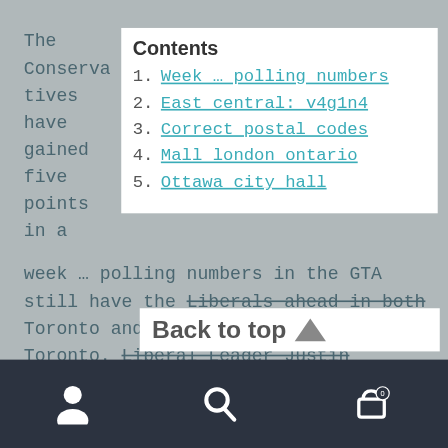The Conservatives have gained five points in a week … polling numbers in the GTA still have the Liberals ahead in both Toronto and … age riding grounds Toronto. Liberal Leader Justin
Contents
1. Week … polling numbers
2. East central: v4g1n4
3. Correct postal codes
4. Mall london ontario
5. Ottawa city hall
Back to top